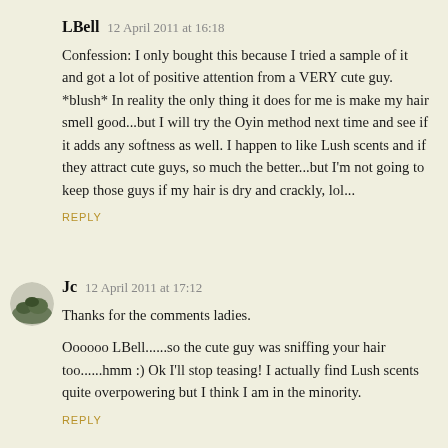LBell  12 April 2011 at 16:18
Confession: I only bought this because I tried a sample of it and got a lot of positive attention from a VERY cute guy. *blush* In reality the only thing it does for me is make my hair smell good...but I will try the Oyin method next time and see if it adds any softness as well. I happen to like Lush scents and if they attract cute guys, so much the better...but I'm not going to keep those guys if my hair is dry and crackly, lol...
REPLY
Jc  12 April 2011 at 17:12
Thanks for the comments ladies.
Oooooo LBell......so the cute guy was sniffing your hair too......hmm :) Ok I'll stop teasing! I actually find Lush scents quite overpowering but I think I am in the minority.
REPLY